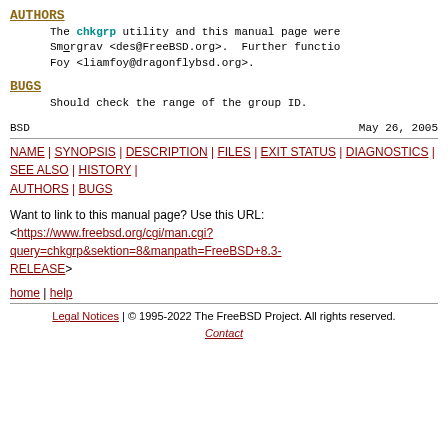AUTHORS
The chkgrp utility and this manual page were written by Dag-Erling Smørgrav <des@FreeBSD.org>. Further functionality by Liam J. Foy <liamfoy@dragonflybsd.org>.
BUGS
Should check the range of the group ID.
BSD   May 26, 2005
NAME | SYNOPSIS | DESCRIPTION | FILES | EXIT STATUS | DIAGNOSTICS | SEE ALSO | HISTORY | AUTHORS | BUGS
Want to link to this manual page? Use this URL: <https://www.freebsd.org/cgi/man.cgi?query=chkgrp&sektion=8&manpath=FreeBSD+8.3-RELEASE>
home | help
Legal Notices | © 1995-2022 The FreeBSD Project. All rights reserved. Contact